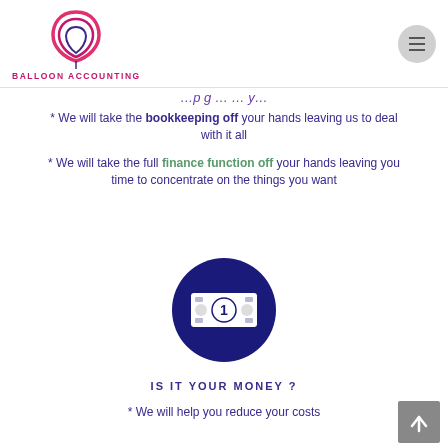Balloon Accounting
…keeping off your hands…
* We will take the bookkeeping off your hands leaving us to deal with it all
* We will take the full finance function off your hands leaving you time to concentrate on the things you want
[Figure (illustration): Dark navy blue circle icon containing a white dollar bill / banknote with the number 1 in the center]
IS IT YOUR MONEY ?
* We will help you reduce your costs